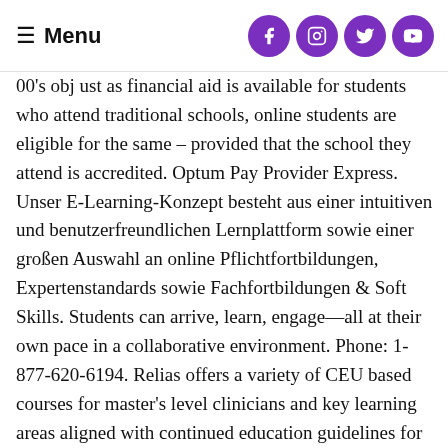Menu
00's obj ust as financial aid is available for students who attend traditional schools, online students are eligible for the same – provided that the school they attend is accredited. Optum Pay Provider Express. Unser E-Learning-Konzept besteht aus einer intuitiven und benutzerfreundlichen Lernplattform sowie einer großen Auswahl an online Pflichtfortbildungen, Expertenstandards sowie Fachfortbildungen & Soft Skills. Students can arrive, learn, engage—all at their own pace in a collaborative environment. Phone: 1-877-620-6194. Relias offers a variety of CEU based courses for master's level clinicians and key learning areas aligned with continued education guidelines for certified healthcare para-professionals. 0000002262 00000 n <> 0000008338 00000 n You can find the free courses in many fields through Coursef.com. <> Relias Women's Leadership Initiative and Police Together diversity and